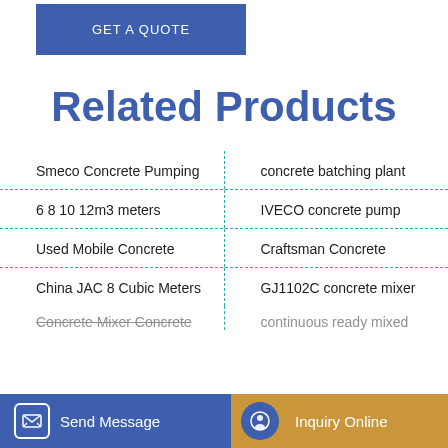GET A QUOTE
Related Products
Smeco Concrete Pumping
concrete batching plant
6 8 10 12m3 meters
IVECO concrete pump
Used Mobile Concrete
Craftsman Concrete
China JAC 8 Cubic Meters
GJ1102C concrete mixer
Send Message
Inquiry Online